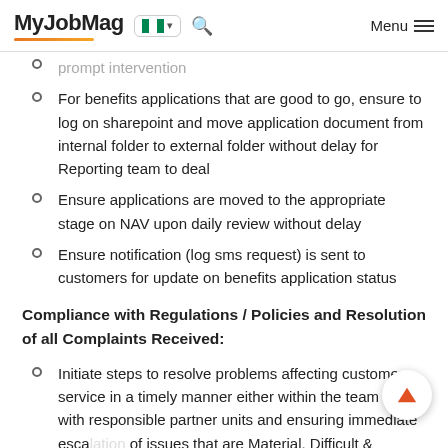MyJobMag [Nigeria flag] Menu
prompt intervention
For benefits applications that are good to go, ensure to log on sharepoint and move application document from internal folder to external folder without delay for Reporting team to deal
Ensure applications are moved to the appropriate stage on NAV upon daily review without delay
Ensure notification (log sms request) is sent to customers for update on benefits application status
Compliance with Regulations / Policies and Resolution of all Complaints Received:
Initiate steps to resolve problems affecting customer service in a timely manner either within the team or with responsible partner units and ensuring immediate escalation of issues that are Material, Difficult & Unusual to the Head, Branch Operations (HBO) and where applicable to the